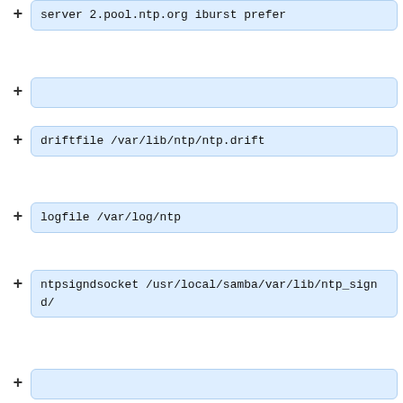server 2.pool.ntp.org iburst prefer
driftfile /var/lib/ntp/ntp.drift
logfile /var/log/ntp
ntpsigndsocket /usr/local/samba/var/lib/ntp_signd/
# Access control
# Default restriction: Allow clients only to query the time
restrict default kod